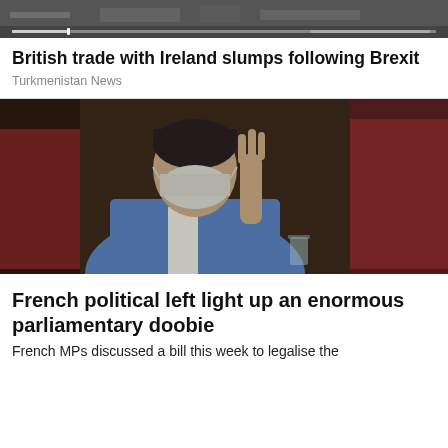[Figure (photo): Dark horizontal banner image, appears to be a landscape/vehicle scene with a video scrubber bar at the bottom]
British trade with Ireland slumps following Brexit
Turkmenistan News
[Figure (photo): Man in a blue suit wearing a white face mask, raising his hand with fingers pointing upward, seated in what appears to be the French National Assembly chamber with red seats in the background]
French political left light up an enormous parliamentary doobie
French MPs discussed a bill this week to legalise the